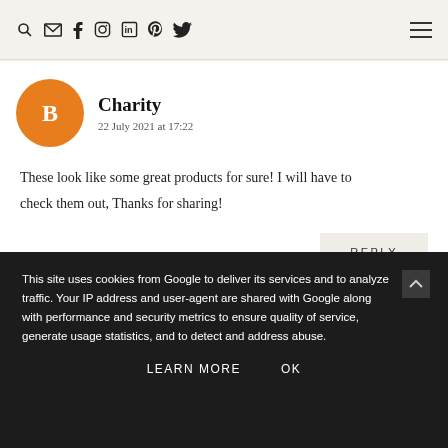Social media icons: search, email, facebook, instagram, linkedin, pinterest, twitter; hamburger menu
Charity
22 July 2021 at 17:22
These look like some great products for sure! I will have to check them out, Thanks for sharing!
REPLY
This site uses cookies from Google to deliver its services and to analyze traffic. Your IP address and user-agent are shared with Google along with performance and security metrics to ensure quality of service, generate usage statistics, and to detect and address abuse.
LEARN MORE   OK